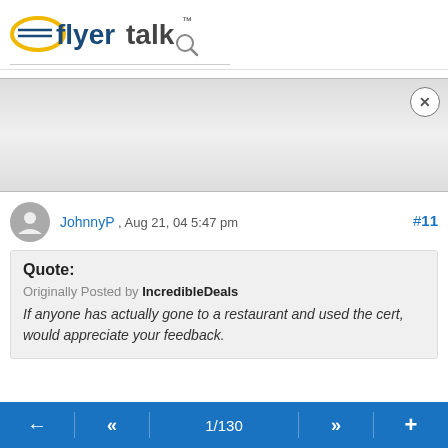[Figure (logo): FlyerTalk logo with yellow ellipse and magnifying glass icon]
[Figure (other): Advertisement banner area with close (x) button]
#11
JohnnyP , Aug 21, 04 5:47 pm
Quote:
Originally Posted by IncredibleDeals
If anyone has actually gone to a restaurant and used the cert, would appreciate your feedback.
← « 1/130 » +